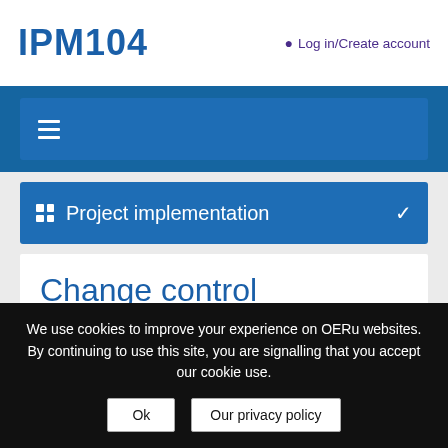IPM104
Log in/Create account
[Figure (screenshot): Navigation hamburger menu bar on dark blue background]
Project implementation
Change control
We use cookies to improve your experience on OERu websites. By continuing to use this site, you are signalling that you accept our cookie use.
Ok
Our privacy policy